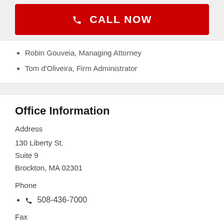CALL NOW
Robin Gouveia, Managing Attorney
Tom d'Oliveira, Firm Administrator
Office Information
Address
130 Liberty St.
Suite 9
Brockton, MA 02301
Phone
508-436-7000
Fax
401-765-3428 (Fax)